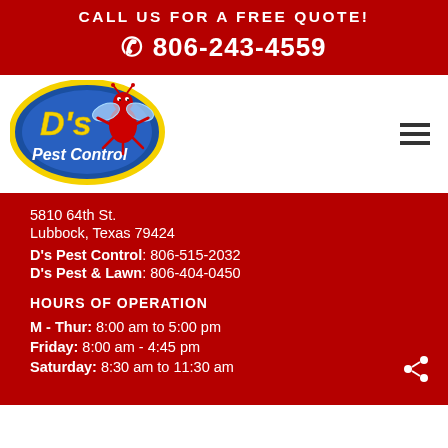CALL US FOR A FREE QUOTE!
☎ 806-243-4559
[Figure (logo): D's Pest Control logo — blue oval with yellow border, red cartoon ant/bug mascot, yellow stylized text 'D's' and white 'Pest Control']
5810 64th St.
Lubbock, Texas 79424
D's Pest Control: 806-515-2032
D's Pest & Lawn: 806-404-0450
HOURS OF OPERATION
M - Thur: 8:00 am to 5:00 pm
Friday: 8:00 am - 4:45 pm
Saturday: 8:30 am to 11:30 am